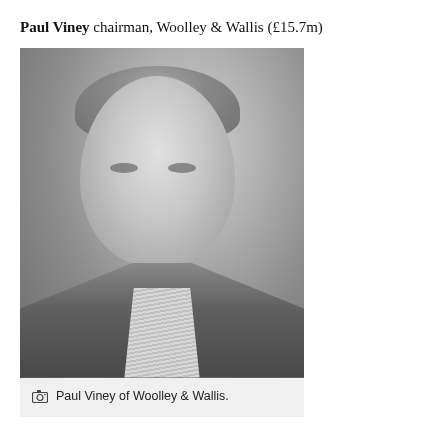Paul Viney chairman, Woolley & Wallis (£15.7m)
[Figure (photo): Black and white portrait photograph of Paul Viney, an older gentleman with swept-back grey hair wearing a dark suit and striped shirt.]
Paul Viney of Woolley & Wallis.